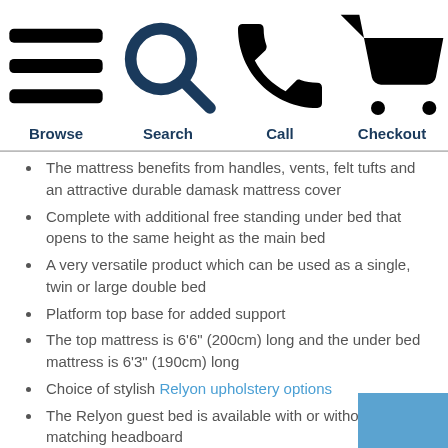Browse | Search | Call | Checkout
The mattress benefits from handles, vents, felt tufts and an attractive durable damask mattress cover
Complete with additional free standing under bed that opens to the same height as the main bed
A very versatile product which can be used as a single, twin or large double bed
Platform top base for added support
The top mattress is 6'6" (200cm) long and the under bed mattress is 6'3" (190cm) long
Choice of stylish Relyon upholstery options
The Relyon guest bed is available with or without a matching headboard
The mattress border is 22cm high
Relyon bed review